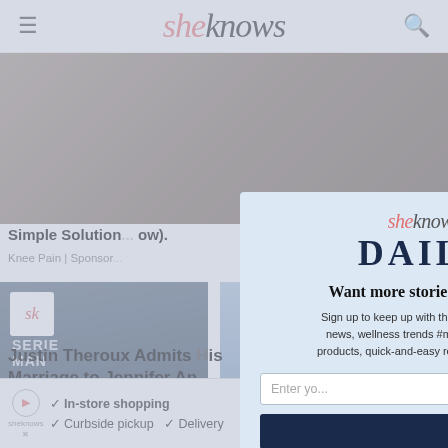sheknows
[Figure (photo): Background photo showing people, partially obscured by modal]
Simple Solution... ow).
Knee Pain | Sponsor...
[Figure (photo): Photo of Justin Theroux at an event, with sk logo badge overlay]
[Figure (photo): Photo of a woman on the right side, partially visible]
Justin Theroux Admits His Marriage to Jennifer An...
[Figure (infographic): SheKnows Daily newsletter modal popup overlay]
Enter yo...
Want more stories like this?
Sign up to keep up with the latest celebrity news, wellness trends #mom hacks, cult products, quick-and-easy recipes, and more
[Figure (infographic): Bottom ad banner with In-store shopping, Curbside pickup, Delivery checkmarks and navigation icon]